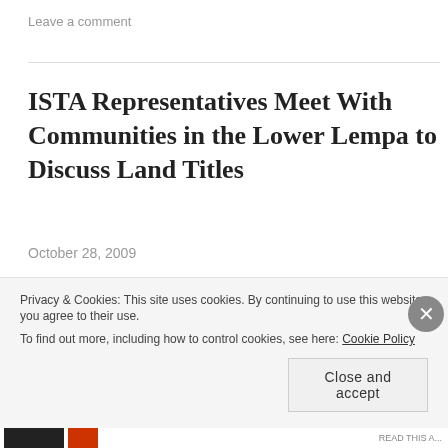Leave a comment
ISTA Representatives Meet With Communities in the Lower Lempa to Discuss Land Titles
October 28, 2009
Nicolle Katrivanos,* San Salvador – On Saturday, October 24th, the Association of the United Communities for Economic and Social Development of the Lower Lempa
Privacy & Cookies: This site uses cookies. By continuing to use this website, you agree to their use. To find out more, including how to control cookies, see here: Cookie Policy
Close and accept